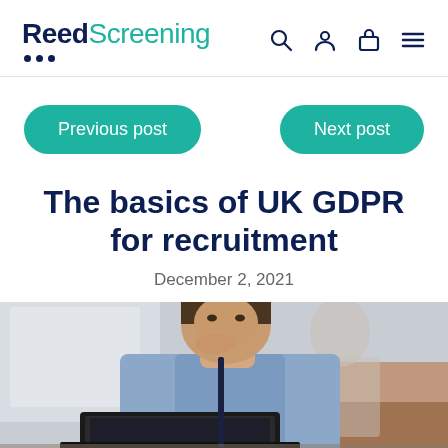Reed Screening
Previous post
Next post
The basics of UK GDPR for recruitment
December 2, 2021
[Figure (photo): A man in a blue shirt sitting at a desk with a laptop, hand on chin in a thoughtful pose]